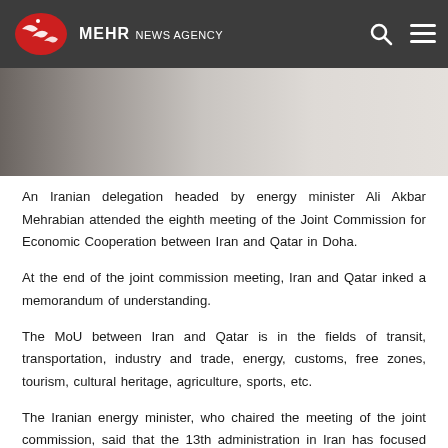MEHR NEWS AGENCY
[Figure (photo): Partial view of a meeting room scene, showing a person in formal attire, muted beige and gray tones]
An Iranian delegation headed by energy minister Ali Akbar Mehrabian attended the eighth meeting of the Joint Commission for Economic Cooperation between Iran and Qatar in Doha.
At the end of the joint commission meeting, Iran and Qatar inked a memorandum of understanding.
The MoU between Iran and Qatar is in the fields of transit, transportation, industry and trade, energy, customs, free zones, tourism, cultural heritage, agriculture, sports, etc.
The Iranian energy minister, who chaired the meeting of the joint commission, said that the 13th administration in Iran has focused on expanding relations with the world and regional countries and expressed